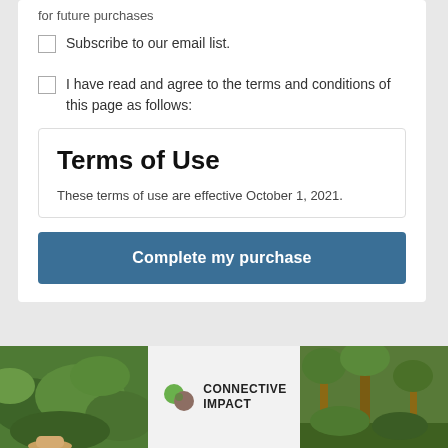for future purchases
Subscribe to our email list.
I have read and agree to the terms and conditions of this page as follows:
Terms of Use
These terms of use are effective October 1, 2021.
Complete my purchase
[Figure (photo): Bottom banner with two nature/green photos on the left and right, and Connective Impact logo in the center]